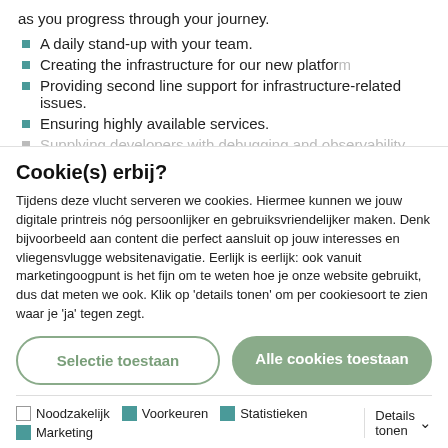as you progress through your journey.
A daily stand-up with your team.
Creating the infrastructure for our new platform
Providing second line support for infrastructure-related issues.
Ensuring highly available services.
Supplying developers with debugging and observability
Cookie(s) erbij?
Tijdens deze vlucht serveren we cookies. Hiermee kunnen we jouw digitale printreis nóg persoonlijker en gebruiksvriendelijker maken. Denk bijvoorbeeld aan content die perfect aansluit op jouw interesses en vliegensvlugge websitenavigatie. Eerlijk is eerlijk: ook vanuit marketingoogpunt is het fijn om te weten hoe je onze website gebruikt, dus dat meten we ook. Klik op 'details tonen' om per cookiesoort te zien waar je 'ja' tegen zegt.
Selectie toestaan
Alle cookies toestaan
Noodzakelijk  Voorkeuren  Statistieken  Marketing  Details tonen